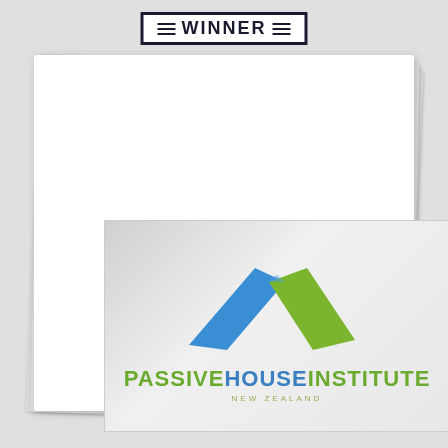WINNER
[Figure (logo): Passive House Institute New Zealand logo: a house roofline chevron shape made of overlapping blue and green parallelograms, with text PASSIVEHOUSEINSTITUTE and NEW ZEALAND below]